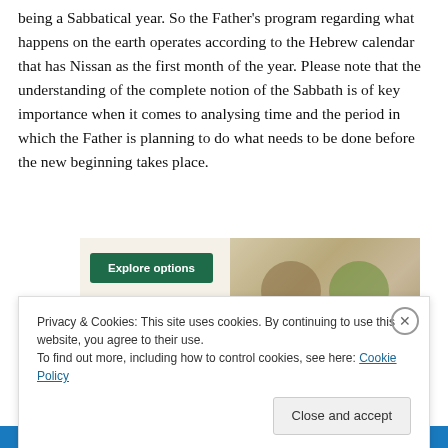being a Sabbatical year. So the Father's program regarding what happens on the earth operates according to the Hebrew calendar that has Nissan as the first month of the year. Please note that the understanding of the complete notion of the Sabbath is of key importance when it comes to analysing time and the period in which the Father is planning to do what needs to be done before the new beginning takes place.
[Figure (other): Advertisement banner with green 'Explore options' button and food imagery on a beige background]
Privacy & Cookies: This site uses cookies. By continuing to use this website, you agree to their use.
To find out more, including how to control cookies, see here: Cookie Policy
Close and accept